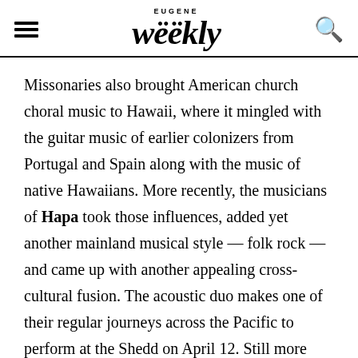EUGENE Weekly
Missonaries also brought American church choral music to Hawaii, where it mingled with the guitar music of earlier colonizers from Portugal and Spain along with the music of native Hawaiians. More recently, the musicians of Hapa took those influences, added yet another mainland musical style — folk rock — and came up with another appealing cross-cultural fusion. The acoustic duo makes one of their regular journeys across the Pacific to perform at the Shedd on April 12. Still more global fusion happens at Cozmic Pizza on March 29 when Portland cellist extraordinaire Adam Hurst returns with his atmospheric blend of Indian, Middle Eastern and C... musical influences...